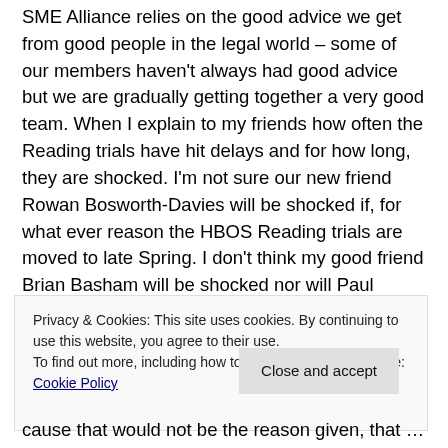SME Alliance relies on the good advice we get from good people in the legal world – some of our members haven't always had good advice but we are gradually getting together a very good team. When I explain to my friends how often the Reading trials have hit delays and for how long, they are shocked. I'm not sure our new friend Rowan Bosworth-Davies will be shocked if, for what ever reason the HBOS Reading trials are moved to late Spring. I don't think my good friend Brian Basham will be shocked nor will Paul Moore be shocked.
I won't be shocked but I will be devastated. If it happens and I genuinely pray we won't have another delay, it will cause
Privacy & Cookies: This site uses cookies. By continuing to use this website, you agree to their use.
To find out more, including how to control cookies, see here: Cookie Policy
Close and accept
cause that would not be the reason given, that would be a